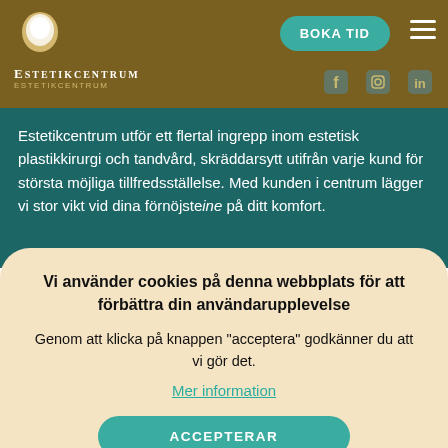ESTETIKCENTRUM
Estetikcentrum utför ett flertal ingrepp inom estetisk plastikkirurgi och tandvård, skräddarsytt utifrån varje kund för största möjliga tillfredsställelse. Med kunden i centrum lägger vi stor vikt vid dina förnöjsteine på ditt komfort.
Vi använder cookies på denna webbplats för att förbättra din användarupplevelse
Genom att klicka på knappen "acceptera" godkänner du att vi gör det.
Mer information
ACCEPTERAR